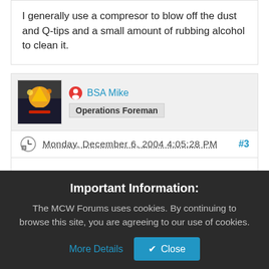I generally use a compresor to blow off the dust and Q-tips and a small amount of rubbing alcohol to clean it.
BSA Mike
Operations Foreman
Monday, December 6, 2004 4:05:28 PM #3
i do the same as cspin - the rubbing alcohol, i just use the Q-Tips and wipe the dust out...
Important Information:
The MCW Forums uses cookies. By continuing to browse this site, you are agreeing to our use of cookies. More Details  Close